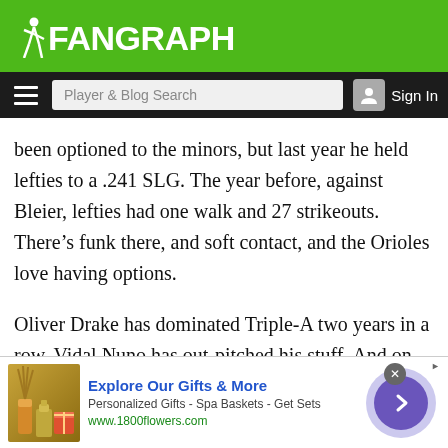FanGraphs
been optioned to the minors, but last year he held lefties to a .241 SLG. The year before, against Bleier, lefties had one walk and 27 strikeouts. There’s funk there, and soft contact, and the Orioles love having options.
Oliver Drake has dominated Triple-A two years in a row. Vidal Nuno has out-pitched his stuff. And on and on it goes. If O’Day is healthy is more like his usual self, this unit could be absolutely lethal. And it’s why I can’t let myself entirely write the Orioles off. Buck Showalter is too good with his bullpen management,
[Figure (screenshot): Advertisement banner for 1800flowers.com - Explore Our Gifts & More. Personalized Gifts - Spa Baskets - Get Sets. www.1800flowers.com]